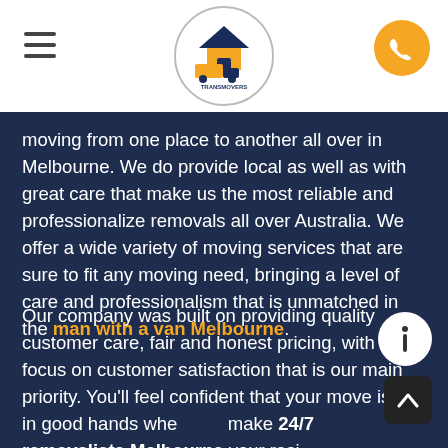[Figure (logo): Transmovers logo inside a circle — orange truck with a house, text TRANSMOVERS below]
moving from one place to another all over in Melbourne. We do provide local as well as with great care that make us the most reliable and professionalize removals all over Australia. We offer a wide variety of moving services that are sure to fit any moving need, bringing a level of care and professionalism that is unmatched in the man with a van Melbourne.
Our company was built on providing quality customer care, fair and honest pricing, with a focus on customer satisfaction that is our main priority. You'll feel confident that your move is in good hands whe make 24/7 removalists Melbourne your resi mover. There is a wide range of personalized pa... from moving a big house anywhere in Melbourne j just need a basic man and van service to...